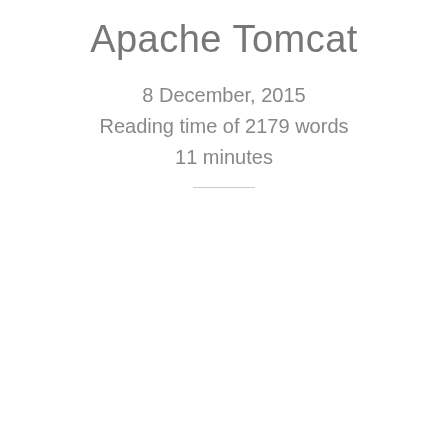Apache Tomcat
8 December, 2015
Reading time of 2179 words
11 minutes